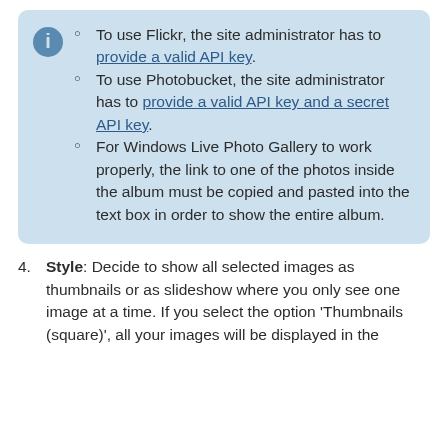To use Flickr, the site administrator has to provide a valid API key.
To use Photobucket, the site administrator has to provide a valid API key and a secret API key.
For Windows Live Photo Gallery to work properly, the link to one of the photos inside the album must be copied and pasted into the text box in order to show the entire album.
Style: Decide to show all selected images as thumbnails or as slideshow where you only see one image at a time. If you select the option ‘Thumbnails (square)’, all your images will be displayed in the